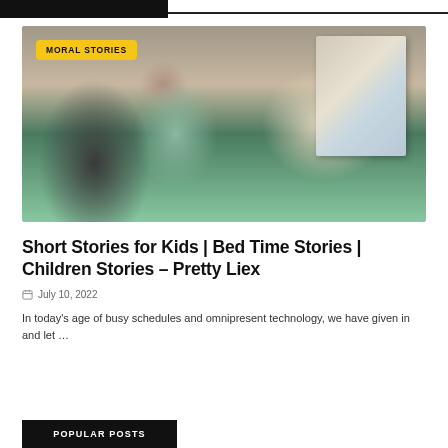[Figure (photo): A parent holding a baby while reading a colorful picture book together]
Short Stories for Kids | Bed Time Stories | Children Stories – Pretty Liex
July 10, 2022
In today's age of busy schedules and omnipresent technology, we have given in and let …
POPULAR POSTS